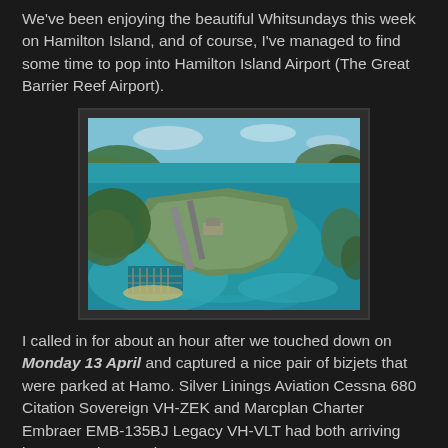We've been enjoying the beautiful Whitsundays this week on Hamilton Island, and of course, I've managed to find some time to pop into Hamilton Island Airport (The Great Barrier Reef Airport).
[Figure (photo): Aerial photograph of Hamilton Island Airport showing the runway peninsula surrounded by turquoise waters of the Whitsundays, with marina visible on the lower left side.]
I called in for about an hour after we touched down on Monday 13 April and captured a nice pair of bizjets that were parked at Hamo.  Silver Linings Aviation Cessna 680 Citation Sovereign VH-ZEK and Marcplan Charter Embraer EMB-135BJ Legacy VH-VLT had both arriving into Hamo last week.